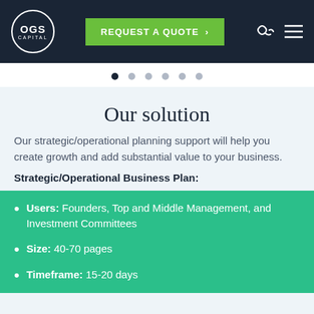OGS Capital | REQUEST A QUOTE
Our solution
Our strategic/operational planning support will help you create growth and add substantial value to your business.
Strategic/Operational Business Plan:
Users: Founders, Top and Middle Management, and Investment Committees
Size: 40-70 pages
Timeframe: 15-20 days